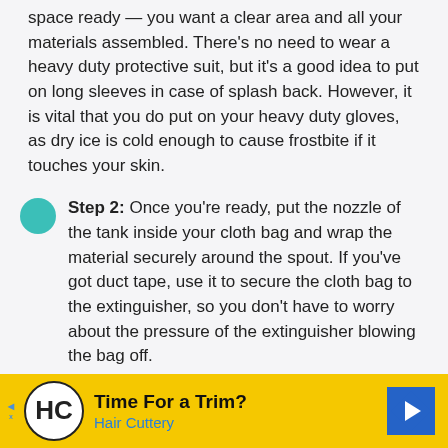space ready — you want a clear area and all your materials assembled. There's no need to wear a heavy duty protective suit, but it's a good idea to put on long sleeves in case of splash back. However, it is vital that you do put on your heavy duty gloves, as dry ice is cold enough to cause frostbite if it touches your skin.
Step 2: Once you're ready, put the nozzle of the tank inside your cloth bag and wrap the material securely around the spout. If you've got duct tape, use it to secure the cloth bag to the extinguisher, so you don't have to worry about the pressure of the extinguisher blowing the bag off.
Step 3: Start releasing the contents of the canister into the cloth bag. If it's a CO2 canister, you'll need to